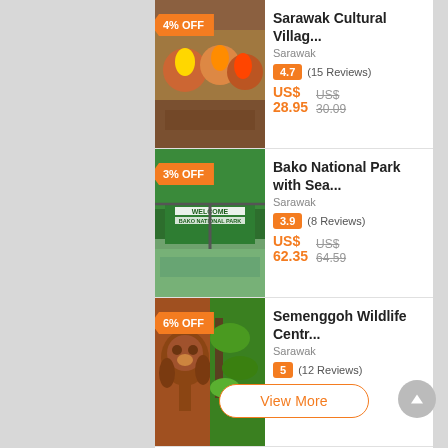[Figure (photo): Sarawak Cultural Village performers in traditional costumes with 4% OFF discount tag]
Sarawak Cultural Villag...
Sarawak
4.7 (15 Reviews)
US$ 28.95  US$ 30.09
[Figure (photo): Bako National Park entrance sign with mangrove water and 3% OFF discount tag]
Bako National Park with Sea...
Sarawak
3.9 (8 Reviews)
US$ 62.35  US$ 64.59
[Figure (photo): Orangutan at Semenggoh Wildlife Centre with 6% OFF discount tag]
Semenggoh Wildlife Centr...
Sarawak
5 (12 Reviews)
US$ 16.70  US$ 17.85
View More